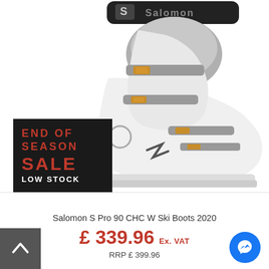[Figure (photo): White Salomon S Pro 90 CHC W ski boot with black collar branded 'Salomon', silver and gold hardware buckles, on white background. End of Season Sale badge overlay in bottom-left.]
END OF SEASON SALE LOW STOCK
Salomon S Pro 90 CHC W Ski Boots 2020
£ 339.96 Ex. VAT
RRP £ 399.96